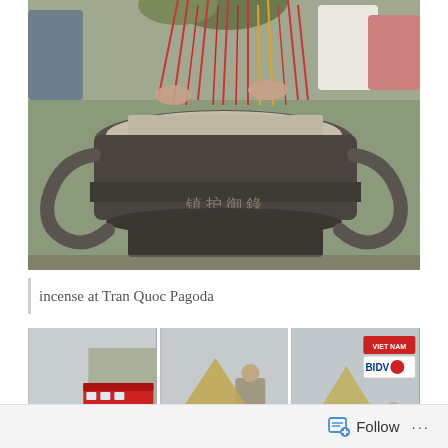[Figure (photo): Large incense burner/urn filled with ash and many incense sticks at Tran Quoc Pagoda. Hands holding incense sticks visible at top. Ornate stone urn with Chinese/Vietnamese characters carved on it. People in background.]
incense at Tran Quoc Pagoda
[Figure (photo): Three side-by-side photos of Vietnamese street vendors wearing traditional conical hats (non la). Left: two women near bicycles on a street with a bus in background. Center: smiling woman with bicycle cart selling goods. Right: woman carrying shoulder pole with baskets, a sign reading VIET NAM and BIDV visible, blue-jacketed person in background.]
Follow ···